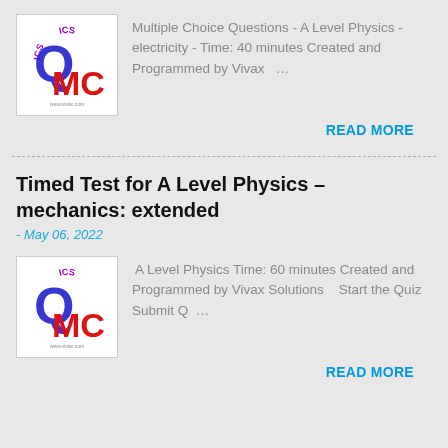[Figure (logo): QMC logo with blue Q, red MC letters, purple ICS text arc on top, on white background]
Multiple Choice Questions - A Level Physics - electricity - Time: 40 minutes Created and Programmed by Vivax ...
READ MORE
Timed Test for A Level Physics – mechanics: extended
- May 06, 2022
[Figure (logo): QMC logo with blue Q, red MC letters, purple ICS text arc on top, on white background]
A Level Physics Time: 60 minutes Created and Programmed by Vivax Solutions   Start the Quiz  Submit Q ...
READ MORE